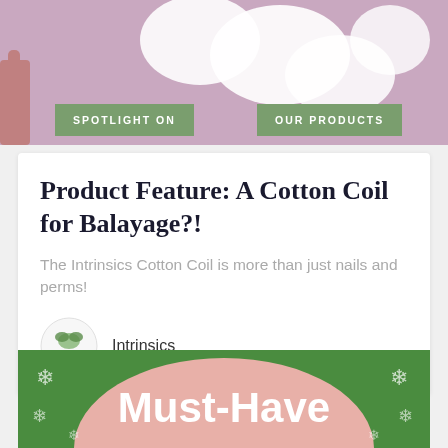[Figure (photo): Top photo showing cotton coils on a mauve/purple background with a hand visible, partially cropped]
SPOTLIGHT ON
OUR PRODUCTS
Product Feature: A Cotton Coil for Balayage?!
The Intrinsics Cotton Coil is more than just nails and perms!
[Figure (logo): Intrinsics brand circular logo]
Intrinsics
[Figure (photo): Bottom green holiday banner with pink oval shape and snowflakes reading Must-Have]